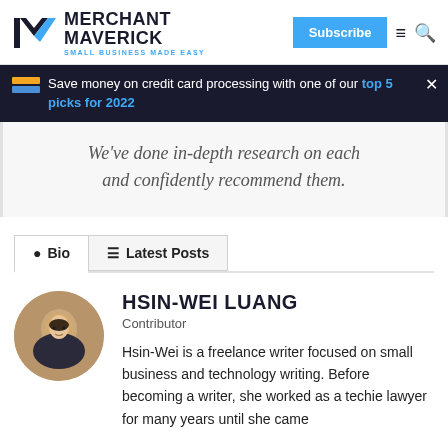Merchant Maverick — SMALL BUSINESS MADE EASY | Subscribe
Save money on credit card processing with one of our top 5 picks for 2022
We've done in-depth research on each and confidently recommend them.
Bio | Latest Posts
HSIN-WEI LUANG
Contributor
Hsin-Wei is a freelance writer focused on small business and technology writing. Before becoming a writer, she worked as a techie lawyer for many years until she came